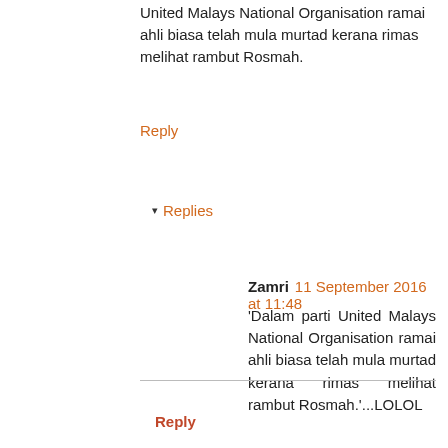United Malays National Organisation ramai ahli biasa telah mula murtad kerana rimas melihat rambut Rosmah.
Reply
▾ Replies
Zamri  11 September 2016 at 11:48
'Dalam parti United Malays National Organisation ramai ahli biasa telah mula murtad kerana rimas melihat rambut Rosmah.'...LOLOL
Anonymous  11 September 2016 at 13:15
Jika M'sia ditadbir mengikut syariat Islam sepenuhnya adakah hukuman yg boleh dikenakan kpd yg tdk menutup aurat? Atau songlap wang rakyat? Atau kuat bohong? Hmmmmm.......
Reply